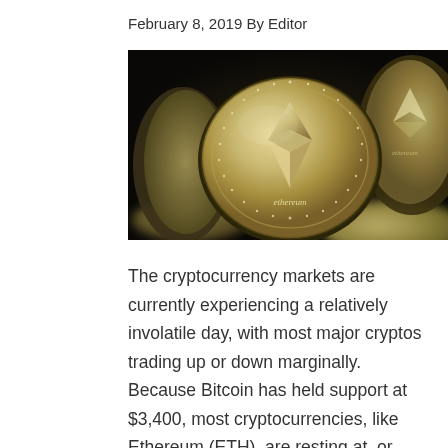February 8, 2019 By Editor
[Figure (photo): Close-up photograph of multiple gold and silver Ethereum cryptocurrency coins arranged on a dark surface, with the Ethereum diamond logo and 'ethereum' text visible on the coins.]
The cryptocurrency markets are currently experiencing a relatively involatile day, with most major cryptos trading up or down marginally. Because Bitcoin has held support at $3,400, most cryptocurrencies, like Ethereum (ETH), are resting at, or slightly above, their support levels, which